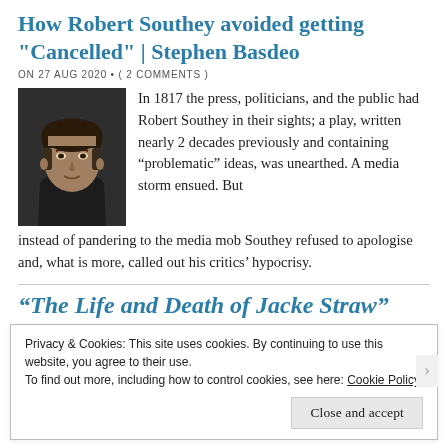How Robert Southey avoided getting “Cancelled” | Stephen Basdeo
ON 27 AUG 2020 • ( 2 COMMENTS )
[Figure (photo): Black and white portrait of Robert Southey]
In 1817 the press, politicians, and the public had Robert Southey in their sights; a play, written nearly 2 decades previously and containing “problematic” ideas, was unearthed. A media storm ensued. But instead of pandering to the media mob Southey refused to apologise and, what is more, called out his critics’ hypocrisy.
“The Life and Death of Jacke Straw” (1593)
Privacy & Cookies: This site uses cookies. By continuing to use this website, you agree to their use.
To find out more, including how to control cookies, see here: Cookie Policy
Close and accept